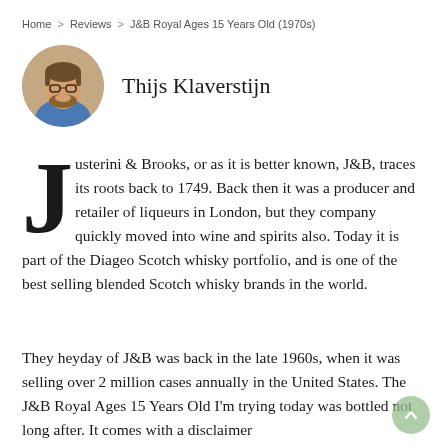Home > Reviews > J&B Royal Ages 15 Years Old (1970s)
[Figure (photo): Circular portrait photo of Thijs Klaverstijn, a man with glasses and a beard wearing a blue shirt.]
Thijs Klaverstijn
Justerini & Brooks, or as it is better known, J&B, traces its roots back to 1749. Back then it was a producer and retailer of liqueurs in London, but they company quickly moved into wine and spirits also. Today it is part of the Diageo Scotch whisky portfolio, and is one of the best selling blended Scotch whisky brands in the world.
They heyday of J&B was back in the late 1960s, when it was selling over 2 million cases annually in the United States. The J&B Royal Ages 15 Years Old I'm trying today was bottled not long after. It comes with a disclaimer